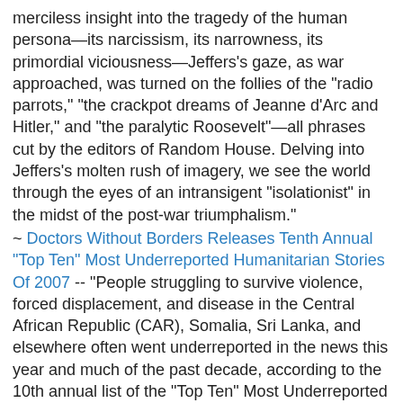merciless insight into the tragedy of the human persona—its narcissism, its narrowness, its primordial viciousness—Jeffers's gaze, as war approached, was turned on the follies of the "radio parrots," "the crackpot dreams of Jeanne d'Arc and Hitler," and "the paralytic Roosevelt"—all phrases cut by the editors of Random House. Delving into Jeffers's molten rush of imagery, we see the world through the eyes of an intransigent "isolationist" in the midst of the post-war triumphalism."
~ Doctors Without Borders Releases Tenth Annual "Top Ten" Most Underreported Humanitarian Stories Of 2007 -- "People struggling to survive violence, forced displacement, and disease in the Central African Republic (CAR), Somalia, Sri Lanka, and elsewhere often went underreported in the news this year and much of the past decade, according to the 10th annual list of the "Top Ten" Most Underreported Humanitarian Stories of 2007."
~ Parmenides -- "The pre-Socratic philosopher sparked an intellectual revolution that still echoes today. Yet for philosophy and science to continue to progress in the 21st century, we may need to embark on an entirely new cognitive journey."